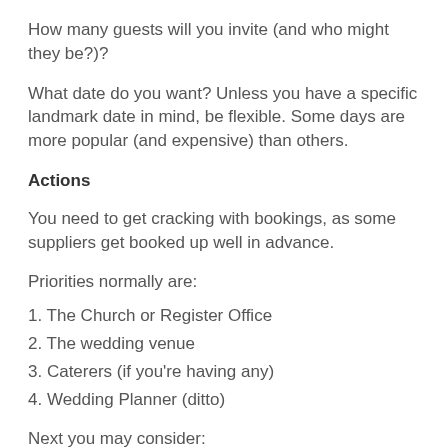How many guests will you invite (and who might they be?)?
What date do you want? Unless you have a specific landmark date in mind, be flexible. Some days are more popular (and expensive) than others.
Actions
You need to get cracking with bookings, as some suppliers get booked up well in advance.
Priorities normally are:
1. The Church or Register Office
2. The wedding venue
3. Caterers (if you're having any)
4. Wedding Planner (ditto)
Next you may consider: